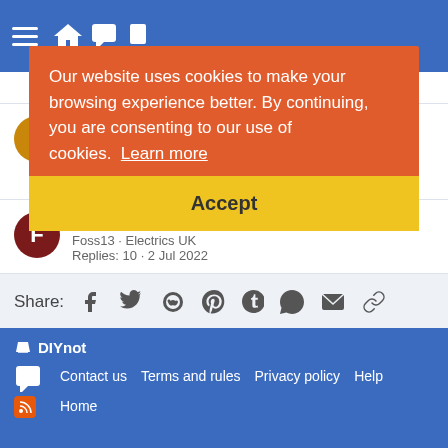DIYnot - header navigation
Replies: [partial]
Fluorescent Light Query - bigup · Electrics UK · Replies: 22 · 2 Jul 2022
LED Downlighter replacement - questions - Foss13 · Electrics UK · Replies: 10 · 2 Jul 2022
Share: [social icons - facebook, twitter, reddit, pinterest, tumblr, whatsapp, email, link]
< Electrics UK
DIYnot · Contact us · Terms and rules · Privacy policy · Help · Home
Our website uses cookies to make your browsing experience better. By continuing, you are consenting to our use of cookies. Learn more
Accept